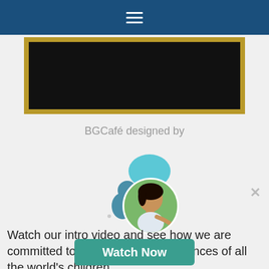Navigation menu (hamburger icon)
[Figure (screenshot): Gold-bordered video thumbnail with black video area]
BGCafé designed by
[Figure (illustration): Chat widget showing a teal/blue person icon with speech bubble, and a circular photo of a young girl]
Watch our intro video and see how we are committed to improving the life chances of all the world's children.